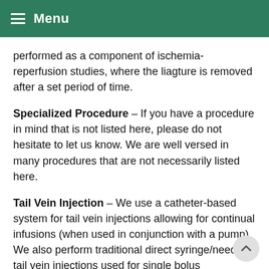Menu
performed as a component of ischemia-reperfusion studies, where the liagture is removed after a set period of time.
Specialized Procedure – If you have a procedure in mind that is not listed here, please do not hesitate to let us know. We are well versed in many procedures that are not necessarily listed here.
Tail Vein Injection – We use a catheter-based system for tail vein injections allowing for continual infusions (when used in conjunction with a pump). We also perform traditional direct syringe/needle tail vein injections used for single bolus